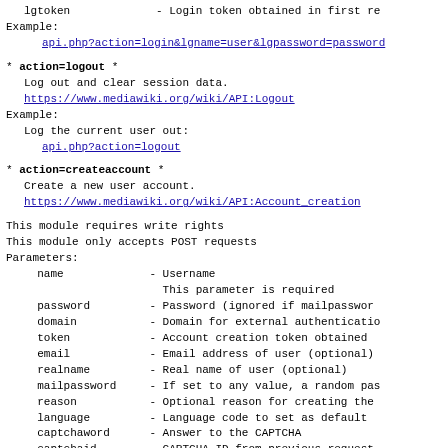lgtoken             - Login token obtained in first re...
Example:
  api.php?action=login&lgname=user&lgpassword=password
* action=logout *
Log out and clear session data.
https://www.mediawiki.org/wiki/API:Logout
Example:
  Log the current user out:
    api.php?action=logout
* action=createaccount *
Create a new user account.
https://www.mediawiki.org/wiki/API:Account_creation
This module requires write rights
This module only accepts POST requests
Parameters:
  name             - Username
                     This parameter is required
  password         - Password (ignored if mailpasswor...
  domain           - Domain for external authenticatio...
  token            - Account creation token obtained ...
  email            - Email address of user (optional)
  realname         - Real name of user (optional)
  mailpassword     - If set to any value, a random pas...
  reason           - Optional reason for creating the...
  language         - Language code to set as default ...
  captchaword      - Answer to the CAPTCHA
  captchaid        - CAPTCHA ID from previous request...